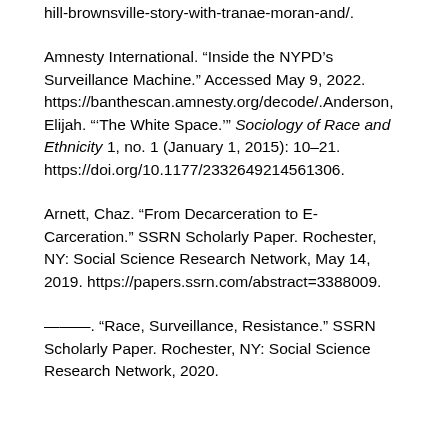hill-brownsville-story-with-tranae-moran-and/.
Amnesty International. “Inside the NYPD’s Surveillance Machine.” Accessed May 9, 2022. https://banthescan.amnesty.org/decode/.Anderson, Elijah. “‘The White Space.’” Sociology of Race and Ethnicity 1, no. 1 (January 1, 2015): 10–21. https://doi.org/10.1177/2332649214561306.
Arnett, Chaz. “From Decarceration to E-Carceration.” SSRN Scholarly Paper. Rochester, NY: Social Science Research Network, May 14, 2019. https://papers.ssrn.com/abstract=3388009.
———. “Race, Surveillance, Resistance.” SSRN Scholarly Paper. Rochester, NY: Social Science Research Network, 2020.